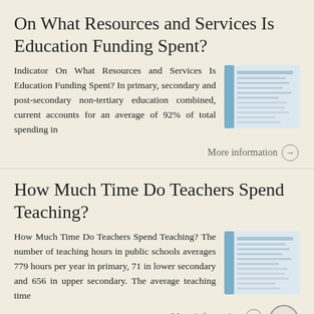On What Resources and Services Is Education Funding Spent?
Indicator On What Resources and Services Is Education Funding Spent? In primary, secondary and post-secondary non-tertiary education combined, current accounts for an average of 92% of total spending in
[Figure (screenshot): Thumbnail image of a document page related to education funding resources]
More information →
How Much Time Do Teachers Spend Teaching?
How Much Time Do Teachers Spend Teaching? The number of teaching hours in public schools averages 779 hours per year in primary, 71 in lower secondary and 656 in upper secondary. The average teaching time
[Figure (screenshot): Thumbnail image of a document page related to teacher teaching time]
More information →